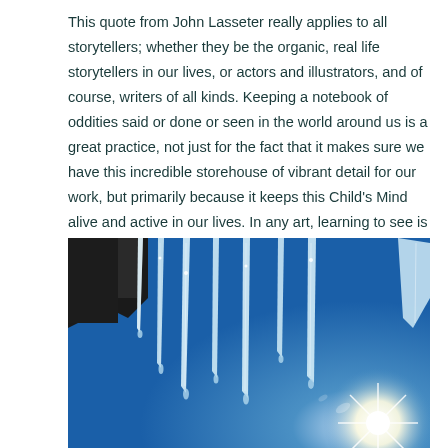This quote from John Lasseter really applies to all storytellers; whether they be the organic, real life storytellers in our lives, or actors and illustrators, and of course, writers of all kinds. Keeping a notebook of oddities said or done or seen in the world around us is a great practice, not just for the fact that it makes sure we have this incredible storehouse of vibrant detail for our work, but primarily because it keeps this Child's Mind alive and active in our lives. In any art, learning to see is what makes all the difference.
[Figure (photo): Photograph of icicles hanging from a rooftop edge against a bright blue sky, with the sun visible in the lower right corner creating a starburst effect.]